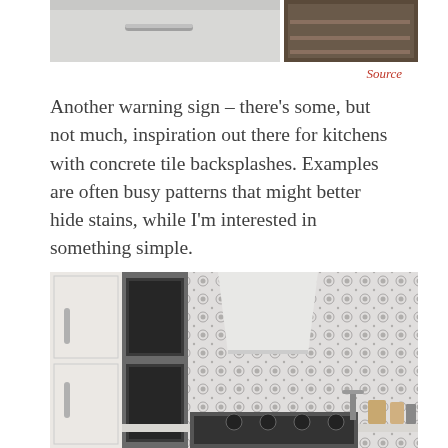[Figure (photo): Top portion of a kitchen image showing white cabinet with bar handle on left and dark stove/appliance on right, cropped at top of page]
Source
Another warning sign – there's some, but not much, inspiration out there for kitchens with concrete tile backsplashes. Examples are often busy patterns that might better hide stains, while I'm interested in something simple.
[Figure (photo): Kitchen interior with white cabinets, built-in ovens on left, and a busy patterned black and white concrete tile backsplash covering the walls around the range hood and behind the stove]